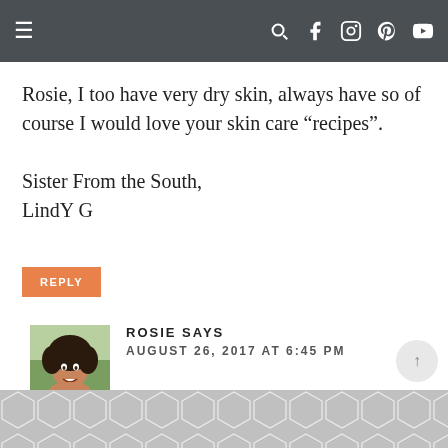Navigation bar with menu and social icons
Rosie, I too have very dry skin, always have so of course I would love your skin care “recipes”.
Sister From the South,
LindY G
REPLY
ROSIE SAYS
AUGUST 26, 2017 AT 6:45 PM
I’ll post some more DIYs 🙂